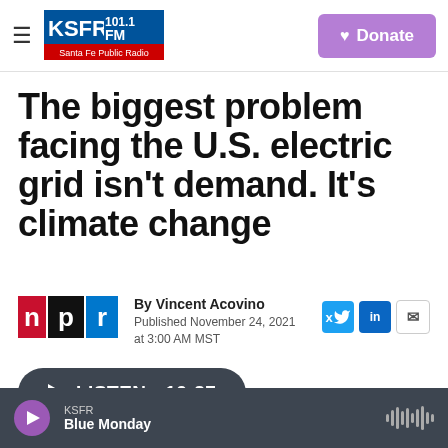KSFR 101.1 FM Santa Fe Public Radio | Donate
The biggest problem facing the U.S. electric grid isn't demand. It's climate change
By Vincent Acovino
Published November 24, 2021 at 3:00 AM MST
LISTEN • 10:27
KSFR Blue Monday